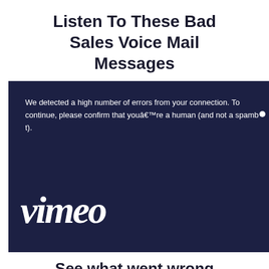Listen To These Bad Sales Voice Mail Messages
[Figure (screenshot): A dark navy blue Vimeo error screen showing text: 'We detected a high number of errors from your connection. To continue, please confirm that you're a human (and not a spambot).' with the Vimeo logo in white italic script below.]
See what went wrong